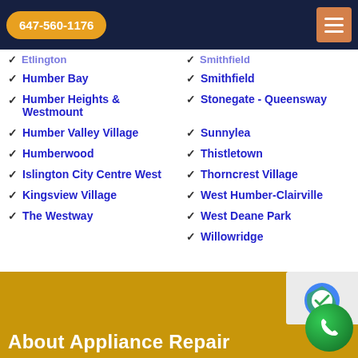647-560-1176
Etlington (truncated/partial)
Humber Bay
Humber Heights & Westmount
Humber Valley Village
Humberwood
Islington City Centre West
Kingsview Village
The Westway
Smithfield (truncated/partial)
Smithfield
Stonegate - Queensway
Sunnylea
Thistletown
Thorncrest Village
West Humber-Clairville
West Deane Park
Willowridge
About Appliance Repair